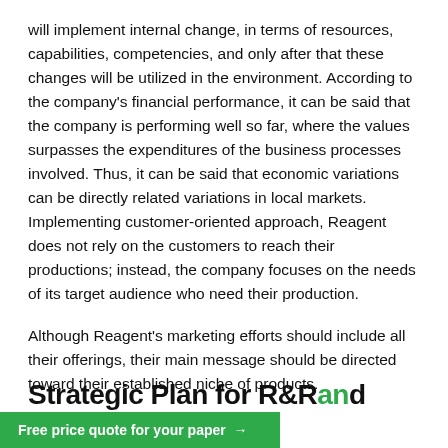will implement internal change, in terms of resources, capabilities, competencies, and only after that these changes will be utilized in the environment. According to the company's financial performance, it can be said that the company is performing well so far, where the values surpasses the expenditures of the business processes involved. Thus, it can be said that economic variations can be directly related variations in local markets. Implementing customer-oriented approach, Reagent does not rely on the customers to reach their productions; instead, the company focuses on the needs of its target audience who need their production.
Although Reagent's marketing efforts should include all their offerings, their main message should be directed toward their established niche of products.
Strategic Plan for R&D and
Free price quote for your paper →